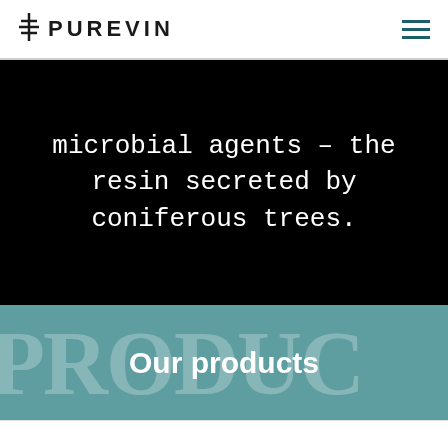PUREVIN
microbial agents – the resin secreted by coniferous trees.
Our products
This website uses cookies to improve your experience. We'll assume you're ok with this, but you can opt-out if you wish.
Cookie settings  ACCEPT